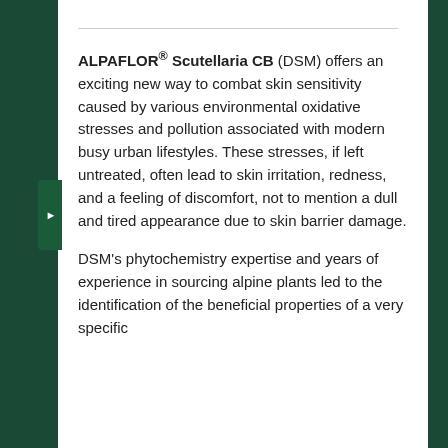ALPAFLOR® Scutellaria CB (DSM) offers an exciting new way to combat skin sensitivity caused by various environmental oxidative stresses and pollution associated with modern busy urban lifestyles. These stresses, if left untreated, often lead to skin irritation, redness, and a feeling of discomfort, not to mention a dull and tired appearance due to skin barrier damage.
DSM's phytochemistry expertise and years of experience in sourcing alpine plants led to the identification of the beneficial properties of a very specific